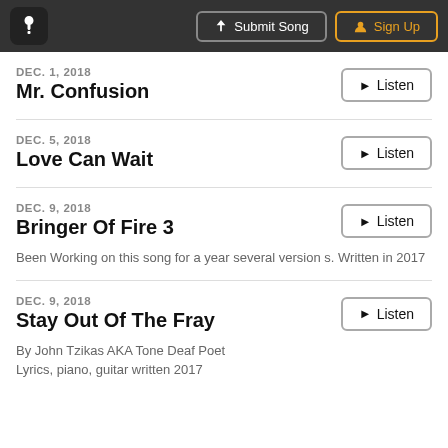Submit Song | Sign Up
DEC. 1, 2018
Mr. Confusion
DEC. 5, 2018
Love Can Wait
DEC. 9, 2018
Bringer Of Fire 3
Been Working on this song for a year several versions. Written in 2017
DEC. 9, 2018
Stay Out Of The Fray
By John Tzikas AKA Tone Deaf Poet
Lyrics, piano, guitar written 2017